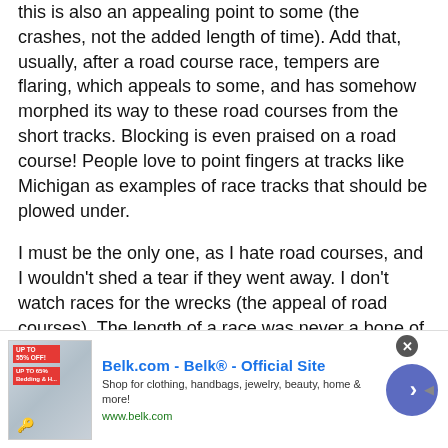this is also an appealing point to some (the crashes, not the added length of time). Add that, usually, after a road course race, tempers are flaring, which appeals to some, and has somehow morphed its way to these road courses from the short tracks. Blocking is even praised on a road course! People love to point fingers at tracks like Michigan as examples of race tracks that should be plowed under.
I must be the only one, as I hate road courses, and I wouldn't shed a tear if they went away. I don't watch races for the wrecks (the appeal of road courses). The length of a race was never a bone of contention before on speedways, so why is it now? And why is it necessary for drivers to behave like spoiled brats just because they don't get their own...
[Figure (infographic): Advertisement banner for Belk.com - Belk Official Site. Shows product image on left, ad text in center with title 'Belk.com - Belk® - Official Site', subtitle 'Shop for clothing, handbags, jewelry, beauty, home & more!' and URL 'www.belk.com'. Navigation arrow button on right. Close button (X) in upper right corner.]